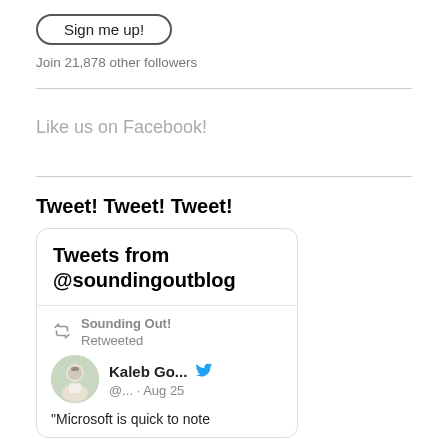Sign me up!
Join 21,878 other followers
Like us on Facebook!
Tweet! Tweet! Tweet!
[Figure (screenshot): Twitter widget showing 'Tweets from @soundingoutblog' with a retweet from Kaleb Go... (@...) on Aug 25: '"Microsoft is quick to note']
"Microsoft is quick to note